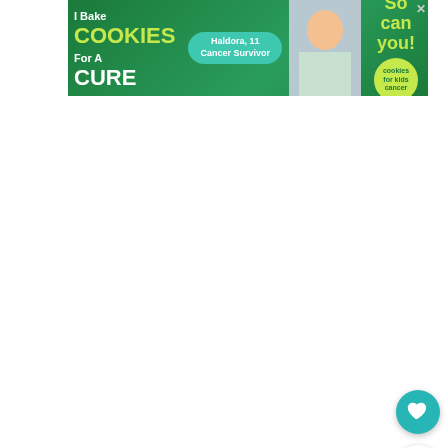[Figure (infographic): Advertisement banner: 'I Bake COOKIES For A CURE' with photo of girl, 'Haldora, 11 Cancer Survivor' pill label, 'So can you!' text, and Cookies for Kids' Cancer logo circle]
[Figure (infographic): White content/article area below the ad banner]
[Figure (infographic): Teal floating heart/favorite button on right side]
[Figure (infographic): White floating share button on right side]
[Figure (infographic): 'WHAT'S NEXT → How to Plan an Epic Day...' card with cityscape thumbnail]
For most of these restaurants, you'll definitely want to
[Figure (infographic): #AloneTogether bottom ad banner overlay with woman photo and close button]